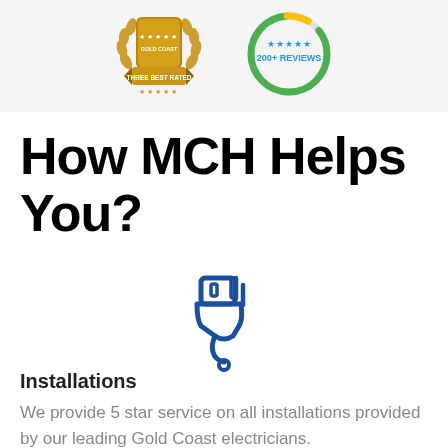[Figure (logo): Three Best Rated Gold Coast award badge with laurel wreath and gold ribbon, and a circular review badge showing 200+ Reviews with green and yellow arc]
How MCH Helps You?
[Figure (illustration): Blue line icon of an electrical plug/cable connector]
Installations
We provide 5 star service on all installations provided by our leading Gold Coast electricians.